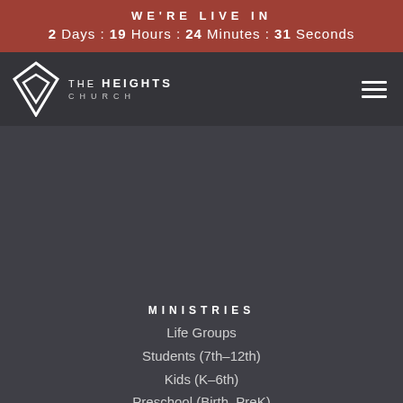WE'RE LIVE IN
2 Days : 19 Hours : 24 Minutes : 31 Seconds
[Figure (logo): The Heights Church diamond logo with text THE HEIGHTS CHURCH]
MINISTRIES
Life Groups
Students (7th–12th)
Kids (K–6th)
Preschool (Birth–PreK)